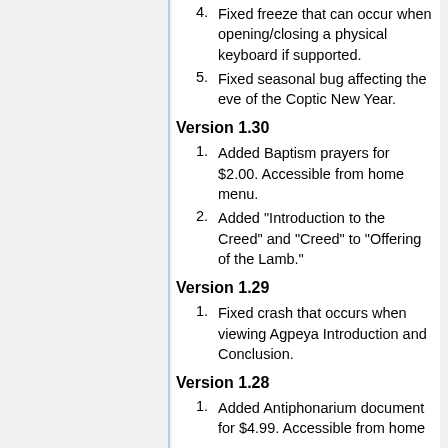4. Fixed freeze that can occur when opening/closing a physical keyboard if supported.
5. Fixed seasonal bug affecting the eve of the Coptic New Year.
Version 1.30
1. Added Baptism prayers for $2.00. Accessible from home menu.
2. Added "Introduction to the Creed" and "Creed" to "Offering of the Lamb."
Version 1.29
1. Fixed crash that occurs when viewing Agpeya Introduction and Conclusion.
Version 1.28
1. Added Antiphonarium document for $4.99. Accessible from home